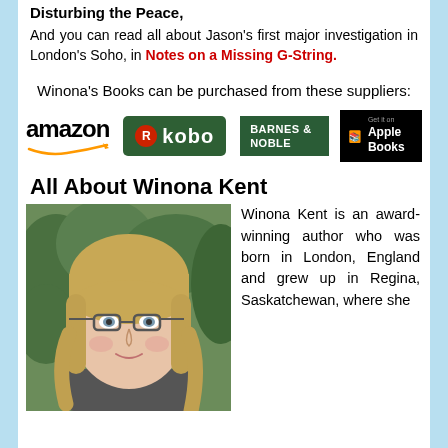Disturbing the Peace,
And you can read all about Jason's first major investigation in London's Soho, in Notes on a Missing G-String.
Winona's Books can be purchased from these suppliers:
[Figure (logo): Retailer logos: Amazon, Kobo, Barnes & Noble, Apple Books]
All About Winona Kent
[Figure (photo): Portrait photo of Winona Kent, a woman with blonde hair and glasses]
Winona Kent is an award-winning author who was born in London, England and grew up in Regina, Saskatchewan, where she